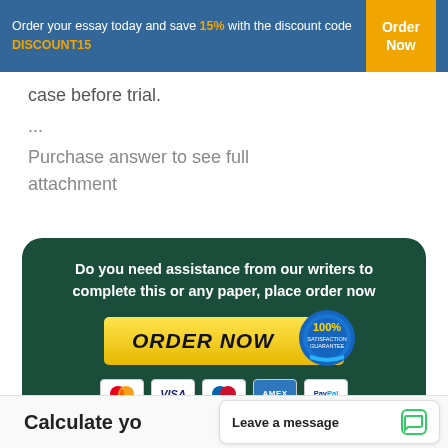Order your essay today and save 15% with the discount code DISCOUNT15  |  Order Now
case before trial.
...
Purchase answer to see full attachment
[Figure (infographic): Green rounded rectangle promo box with text 'Do you need assistance from our writers to complete this or any paper, place order now', a yellow ORDER NOW button with a 100% Satisfaction Guarantee badge, and payment icons (Mastercard, VISA, Cirrus, AMEX, PayPal)]
Calculate yo